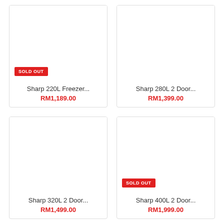[Figure (photo): Product card image area for Sharp 220L Freezer, white background, with SOLD OUT badge]
Sharp 220L Freezer...
RM1,189.00
[Figure (photo): Product card image area for Sharp 280L 2 Door, white background]
Sharp 280L 2 Door...
RM1,399.00
[Figure (photo): Product card image area for Sharp 320L 2 Door, white background]
Sharp 320L 2 Door...
RM1,499.00
[Figure (photo): Product card image area for Sharp 400L 2 Door, white background, with SOLD OUT badge]
Sharp 400L 2 Door...
RM1,999.00